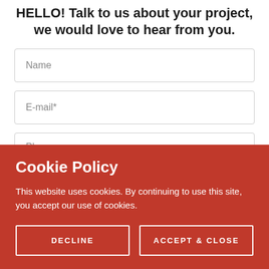HELLO! Talk to us about your project, we would love to hear from you.
Name
E-mail*
Phone
Cookie Policy
This website uses cookies. By continuing to use this site, you accept our use of cookies.
DECLINE
ACCEPT & CLOSE